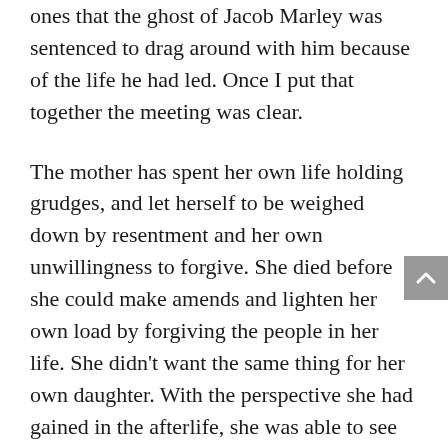ones that the ghost of Jacob Marley was sentenced to drag around with him because of the life he had led. Once I put that together the meeting was clear.
The mother has spent her own life holding grudges, and let herself to be weighed down by resentment and her own unwillingness to forgive. She died before she could make amends and lighten her own load by forgiving the people in her life. She didn't want the same thing for her own daughter. With the perspective she had gained in the afterlife, she was able to see the damage that refusing to forgive her sister was doing to her daughter and like the ghost of Jacob Marley, she was coming through to protect her daughter from her own future, and to encourage her to reconnect with her sister.
I actually referenced a Christmas Carol to the woman when I explained why it was so important to her mother that she reach out to her sister. She finally listened and she started saying, "Mom, the...